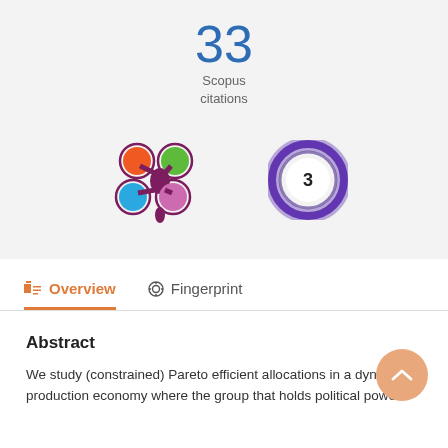33
Scopus
citations
[Figure (logo): Altmetric logo (four colored circles arranged like a flower: orange top-left, green top-right, blue bottom-left, purple bottom-right, connected by a dark purple center)]
[Figure (other): Open Access badge: purple donut/ring shape with number 3 inside a white circle]
Overview
Fingerprint
Abstract
We study (constrained) Pareto efficient allocations in a dynamic production economy where the group that holds political power